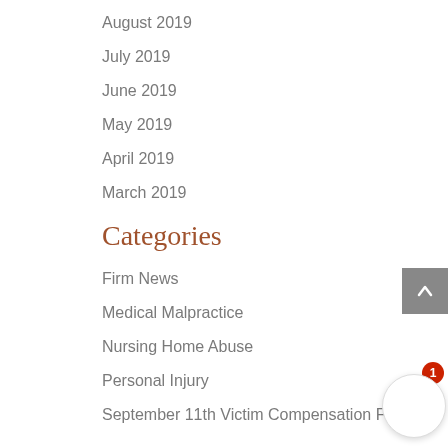August 2019
July 2019
June 2019
May 2019
April 2019
March 2019
Categories
Firm News
Medical Malpractice
Nursing Home Abuse
Personal Injury
September 11th Victim Compensation Fund